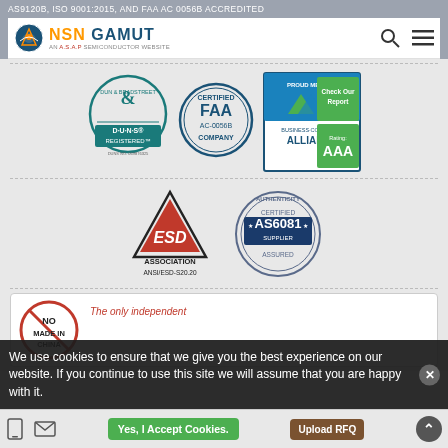AS9120B, ISO 9001:2015, AND FAA AC 0056B ACCREDITED
[Figure (logo): NSN Gamut logo - AN A.S.A.P SEMICONDUCTOR WEBSITE]
[Figure (logo): Dun & Bradstreet D-U-N-S REGISTERED badge, DUNS NO. 069876325]
[Figure (logo): FAA AC-0056B CERTIFIED COMPANY badge]
[Figure (logo): Business Consumer ALLIANCE PROUD MEMBER - Check Our Report - Rating: AAA]
[Figure (logo): ESD ASSOCIATION ANSI/ESD-S20.20 logo]
[Figure (logo): AUTHENTICITY CERTIFIED AS6081 SUPPLIER ASSURED stamp]
[Figure (logo): NO MADE IN CHINA stamp (red circle with slash)]
The only independent
We use cookies to ensure that we give you the best experience on our website. If you continue to use this site we will assume that you are happy with it.
Yes, I Accept Cookies.
Upload RFQ